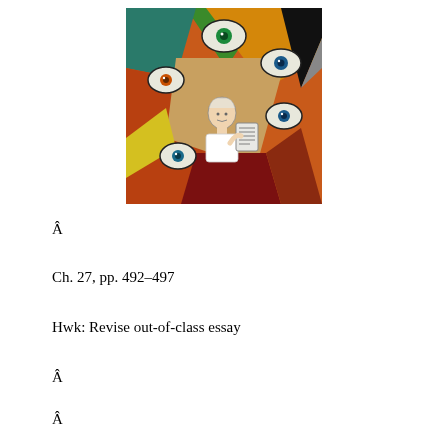[Figure (illustration): Colorful cubist-style illustration showing a figure holding a document, surrounded by multiple eyes watching from different angles against geometric colored sections of orange, green, teal, and red.]
Â
Ch. 27, pp. 492–497
Hwk: Revise out-of-class essay
Â
Â